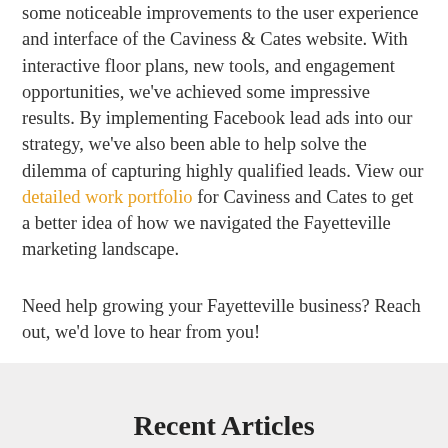some noticeable improvements to the user experience and interface of the Caviness & Cates website. With interactive floor plans, new tools, and engagement opportunities, we've achieved some impressive results. By implementing Facebook lead ads into our strategy, we've also been able to help solve the dilemma of capturing highly qualified leads. View our detailed work portfolio for Caviness and Cates to get a better idea of how we navigated the Fayetteville marketing landscape.
Need help growing your Fayetteville business? Reach out, we'd love to hear from you!
Recent Articles